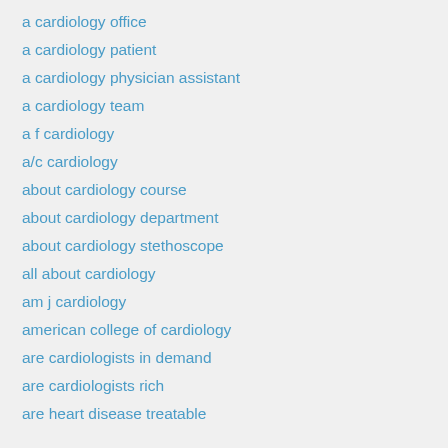a cardiology office
a cardiology patient
a cardiology physician assistant
a cardiology team
a f cardiology
a/c cardiology
about cardiology course
about cardiology department
about cardiology stethoscope
all about cardiology
am j cardiology
american college of cardiology
are cardiologists in demand
are cardiologists rich
are heart disease treatable